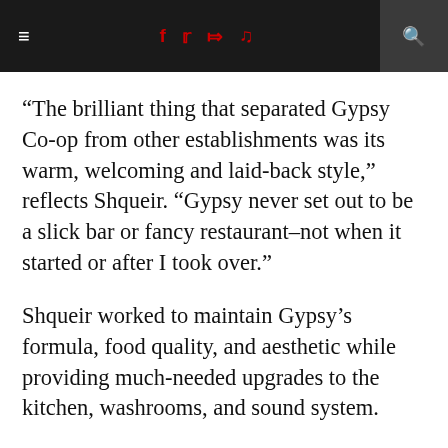Navigation bar with hamburger menu, social icons (Facebook, Twitter, RSS, Music), and search
“The brilliant thing that separated Gypsy Co-op from other establishments was its warm, welcoming and laid-back style,” reflects Shqueir. “Gypsy never set out to be a slick bar or fancy restaurant–not when it started or after I took over.”
Shqueir worked to maintain Gypsy’s formula, food quality, and aesthetic while providing much-needed upgrades to the kitchen, washrooms, and sound system.